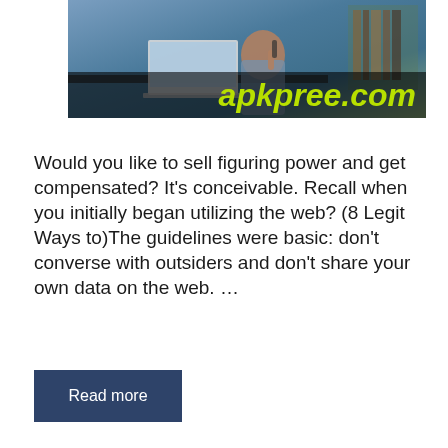[Figure (photo): Person sitting at a desk with a laptop, talking on the phone in an office setting, with 'apkpree.com' watermark overlay in yellow-green text on a dark semi-transparent bar]
Would you like to sell figuring power and get compensated? It's conceivable. Recall when you initially began utilizing the web? (8 Legit Ways to)The guidelines were basic: don't converse with outsiders and don't share your own data on the web. …
Read more